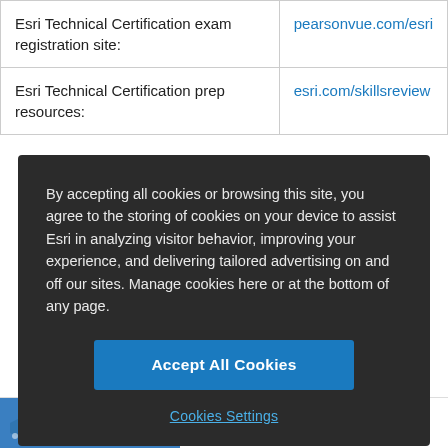|  |  |
| --- | --- |
| Esri Technical Certification exam registration site: | pearsonvue.com/esri |
| Esri Technical Certification prep resources: | esri.com/skillsreview |
By accepting all cookies or browsing this site, you agree to the storing of cookies on your device to assist Esri in analyzing visitor behavior, improving your experience, and delivering tailored advertising on and off our sites. Manage cookies here or at the bottom of any page.
Accept All Cookies
Cookies Settings
Career Opportunities at Esri